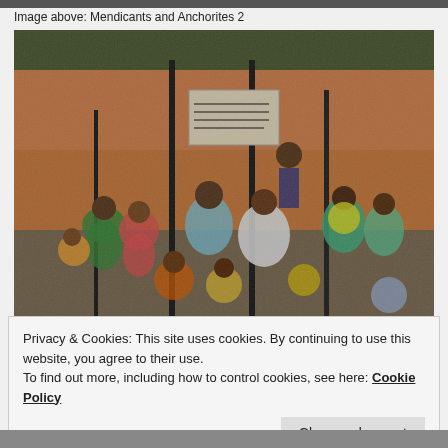[Figure (photo): Top strip of a photo partially visible at the very top of the page]
Image above: Mendicants and Anchorites 2
[Figure (photo): A colorized/tinted black and white photograph showing a crowd of people including women and children outdoors, with tall poles and a sign in what appears to be Hindi script in the background. People are wearing traditional Indian clothing with bright colors (greens, oranges, yellows).]
Privacy & Cookies: This site uses cookies. By continuing to use this website, you agree to their use.
To find out more, including how to control cookies, see here: Cookie Policy
[Figure (photo): Bottom strip of another photo partially visible at the very bottom of the page]